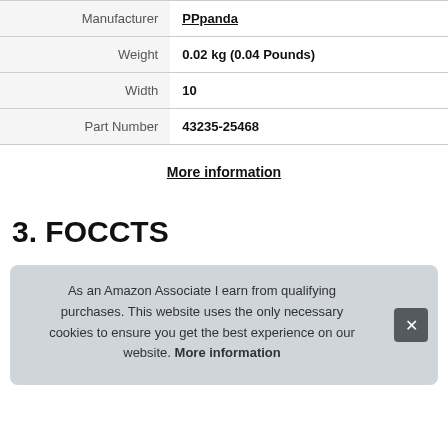| Attribute | Value |
| --- | --- |
| Manufacturer | PPpanda |
| Weight | 0.02 kg (0.04 Pounds) |
| Width | 10 |
| Part Number | 43235-25468 |
More information
3. FOCCTS
As an Amazon Associate I earn from qualifying purchases. This website uses the only necessary cookies to ensure you get the best experience on our website. More information